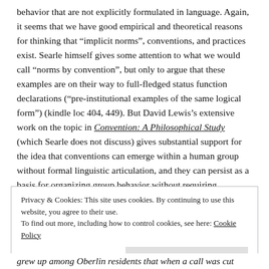behavior that are not explicitly formulated in language. Again, it seems that we have good empirical and theoretical reasons for thinking that “implicit norms”, conventions, and practices exist. Searle himself gives some attention to what we would call “norms by convention”, but only to argue that these examples are on their way to full-fledged status function declarations (“pre-institutional examples of the same logical form”) (kindle loc 404, 449). But David Lewis’s extensive work on the topic in Convention: A Philosophical Study (which Searle does not discuss) gives substantial support for the idea that conventions can emerge within a human group without formal linguistic articulation, and they can persist as a basis for organizing group behavior without requiring “codification” through a speech act. Here is a simple example:
Privacy & Cookies: This site uses cookies. By continuing to use this website, you agree to their use. To find out more, including how to control cookies, see here: Cookie Policy Close and accept
grew up among Oberlin residents that when a call was cut